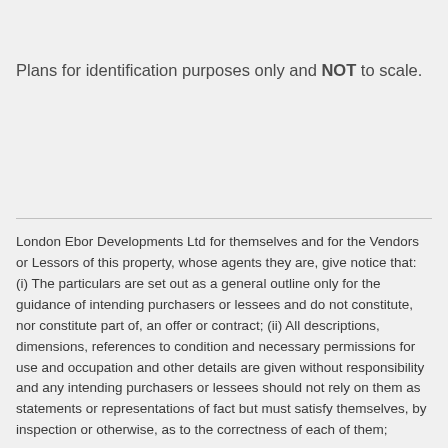Plans for identification purposes only and NOT to scale.
London Ebor Developments Ltd for themselves and for the Vendors or Lessors of this property, whose agents they are, give notice that: (i) The particulars are set out as a general outline only for the guidance of intending purchasers or lessees and do not constitute, nor constitute part of, an offer or contract; (ii) All descriptions, dimensions, references to condition and necessary permissions for use and occupation and other details are given without responsibility and any intending purchasers or lessees should not rely on them as statements or representations of fact but must satisfy themselves, by inspection or otherwise, as to the correctness of each of them;